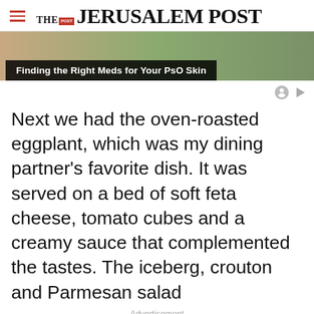THE JERUSALEM POST
[Figure (photo): Advertisement image strip with overlay text: Finding the Right Meds for Your PsO Skin]
Finding the Right Meds for Your PsO Skin
Next we had the oven-roasted eggplant, which was my dining partner’s favorite dish. It was served on a bed of soft feta cheese, tomato cubes and a creamy sauce that complemented the tastes. The iceberg, crouton and Parmesan salad
Advertisement